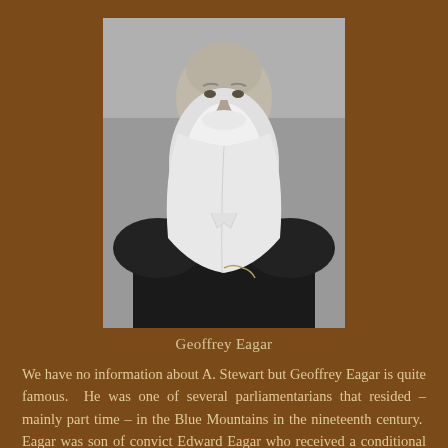[Figure (photo): Black and white portrait photograph of Geoffrey Eagar, an elderly man with a long white beard, wearing dark clothing.]
Geoffrey Eagar
We have no information about A. Stewart but Geoffrey Eagar is quite famous. He was one of several parliamentarians that resided – mainly part time – in the Blue Mountains in the nineteenth century. Eagar was son of convict Edward Eagar who received a conditional pardon in 1813 from Governor Lachlan Macquarie. Eagar senior became one of the richest businessmen in the colony